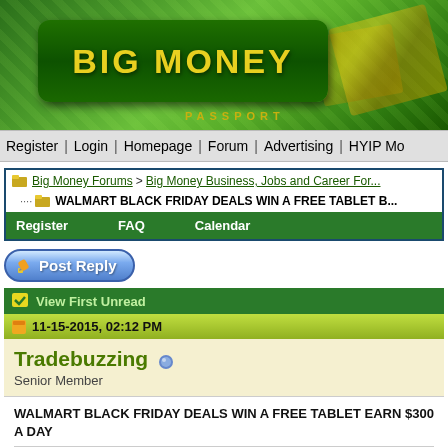[Figure (logo): Big Money Passport forum header banner with green background, gold bars pattern, and 'BIG MONEY' text in yellow on dark green rounded rectangle, with 'PASSPORT' text below]
Register | Login | Homepage | Forum | Advertising | HYIP Mo...
Big Money Forums > Big Money Business, Jobs and Career For...
WALMART BLACK FRIDAY DEALS WIN A FREE TABLET B...
Register   FAQ   Calendar
Post Reply
View First Unread
11-15-2015, 02:12 PM
Tradebuzzing
Senior Member
WALMART BLACK FRIDAY DEALS WIN A FREE TABLET EARN $300 A DAY